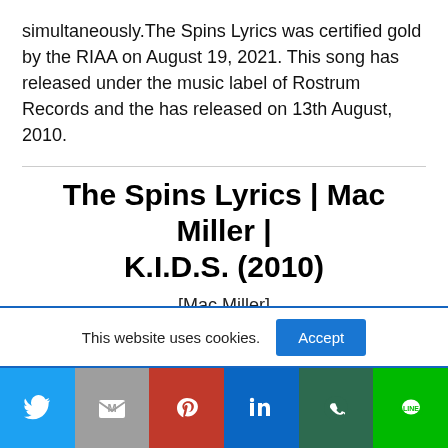simultaneously.The Spins Lyrics was certified gold by the RIAA on August 19, 2021. This song has released under the music label of Rostrum Records and the has released on 13th August, 2010.
The Spins Lyrics | Mac Miller | K.I.D.S. (2010)
[Mac Miller]
Dope shit like that, Jerm
This website uses cookies.
[Figure (other): Social sharing bar with Twitter, Gmail/Mail, Pinterest, LinkedIn, WhatsApp, and Line buttons]